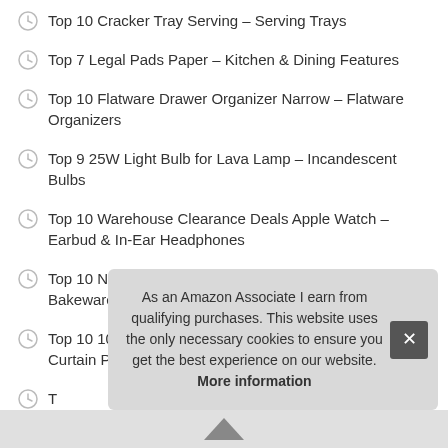Top 10 Cracker Tray Serving – Serving Trays
Top 7 Legal Pads Paper – Kitchen & Dining Features
Top 10 Flatware Drawer Organizer Narrow – Flatware Organizers
Top 9 25W Light Bulb for Lava Lamp – Incandescent Bulbs
Top 10 Warehouse Clearance Deals Apple Watch – Earbud & In-Ear Headphones
Top 10 Ninja Foodie Pressure Cooker Accessories – Bakeware Sets
Top 10 108 Inch Sheer Curtains 2 Panel Set – Window Curtain Pan…
T…
As an Amazon Associate I earn from qualifying purchases. This website uses the only necessary cookies to ensure you get the best experience on our website. More information